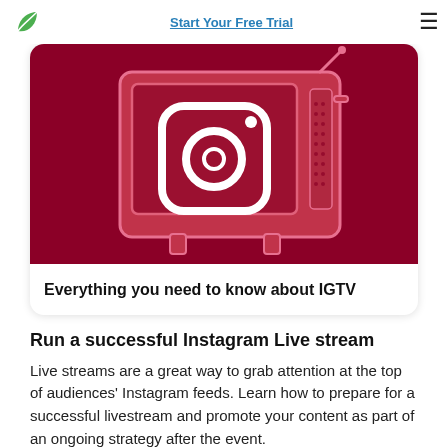Start Your Free Trial
[Figure (illustration): Dark red background with a stylized retro television set containing the Instagram logo (camera icon) on screen. Pink/light red outlines of the TV frame.]
Everything you need to know about IGTV
Run a successful Instagram Live stream
Live streams are a great way to grab attention at the top of audiences' Instagram feeds. Learn how to prepare for a successful livestream and promote your content as part of an ongoing strategy after the event.